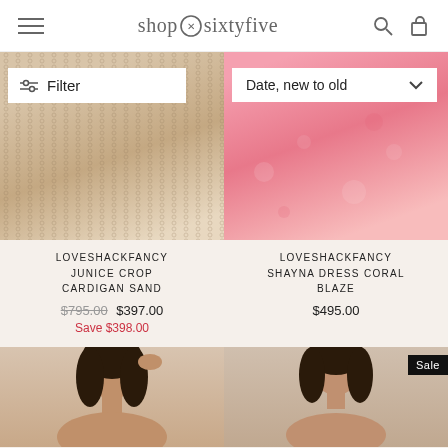shop sixtyfive — navigation header with hamburger menu, logo, search and bag icons
[Figure (screenshot): Product image of LoveShackFancy Junice Crop Cardigan Sand — cropped knit cardigan in sand/beige color]
[Figure (screenshot): Product image of LoveShackFancy Shayna Dress Coral Blaze — pink floral ruffled mini dress]
LOVESHACKFANCY JUNICE CROP CARDIGAN SAND
$795.00 $397.00
Save $398.00
LOVESHACKFANCY SHAYNA DRESS CORAL BLAZE
$495.00
[Figure (screenshot): Partial product image — model with dark hair, bottom portion cropped]
[Figure (screenshot): Partial product image — model with dark hair, Sale badge visible, bottom portion cropped]